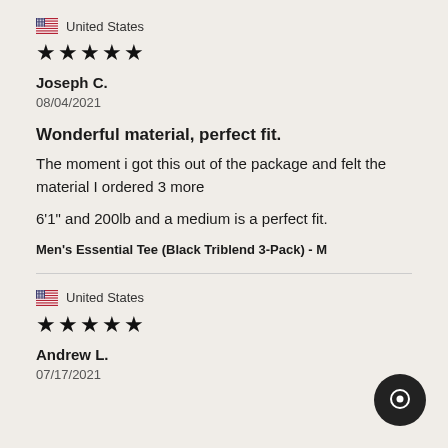United States
★★★★★
Joseph C.
08/04/2021
Wonderful material, perfect fit.
The moment i got this out of the package and felt the material I ordered 3 more
6'1" and 200lb and a medium is a perfect fit.
Men's Essential Tee (Black Triblend 3-Pack) - M
United States
★★★★★
Andrew L.
07/17/2021